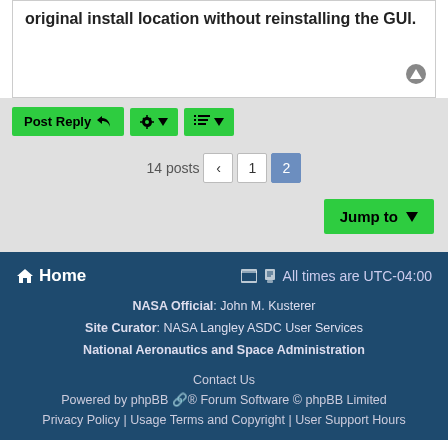original install location without reinstalling the GUI.
Post Reply | Tools | Sort
14 posts  < 1 2
Jump to
Home  All times are UTC-04:00
NASA Official: John M. Kusterer
Site Curator: NASA Langley ASDC User Services
National Aeronautics and Space Administration
Contact Us
Powered by phpBB ® Forum Software © phpBB Limited
Privacy Policy | Usage Terms and Copyright | User Support Hours